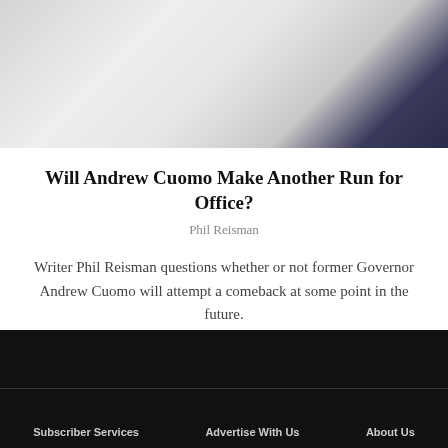[Figure (photo): Photo of pillows or bedding in white and blue tones]
Will Andrew Cuomo Make Another Run for Office?
Phil Reisman
Writer Phil Reisman questions whether or not former Governor Andrew Cuomo will attempt a comeback at some point in the future.
Subscriber Services   Advertise With Us   About Us